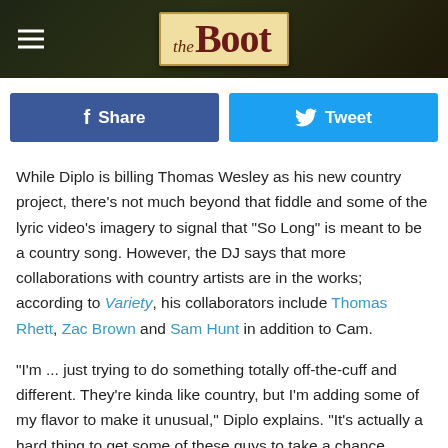the Boot
[Figure (logo): The Boot website logo on a dark textured background with a hamburger menu icon on the left]
Share | Tweet
While Diplo is billing Thomas Wesley as his new country project, there's not much beyond that fiddle and some of the lyric video's imagery to signal that "So Long" is meant to be a country song. However, the DJ says that more collaborations with country artists are in the works; according to Variety, his collaborators include Thomas Rhett, Zac Brown and Sam Hunt in addition to Cam.
"I'm ... just trying to do something totally off-the-cuff and different. They’re kinda like country, but I’m adding some of my flavor to make it unusual," Diplo explains. "It's actually a hard thing to get some of these guys to take a chance,